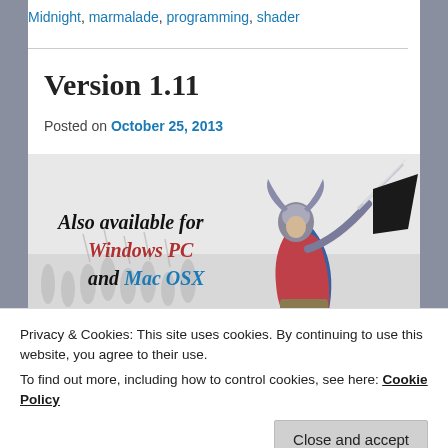Midnight, marmalade, programming, shader
Version 1.11
Posted on October 25, 2013
[Figure (illustration): Promotional banner for Lords of Midnight showing a winged knight holding a sword and flag, with text: Also available for Windows PC and Mac OSX, www.thelordsofmidnight.com]
Privacy & Cookies: This site uses cookies. By continuing to use this website, you agree to their use.
To find out more, including how to control cookies, see here: Cookie Policy
Close and accept
I've been trying to get this update out for a while, and I